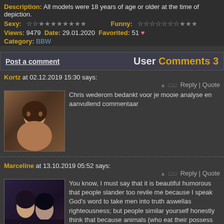Description: All models were 18 years of age or older at the time of depiction.
Sexy: ☆☆★★★★★★★★  Funny: ☆☆☆☆☆☆☆★★★
Views: 9479  Date: 29.01.2020  Favorited: 51 ♥
Category: BBW
User Comments 3
Post a comment
Kortz at 02.12.2019 15:30 says:
Chris wederom bedankt voor je mooie analyse en aanvullend commentaar
Marceline at 13.10.2019 05:52 says:
You know, I must say that it is beautiful humorous that people slander too revile me because I speak God's word to take men into truth aswellas righteousness; but people similar yourself honestly think that because animals (who eat their possess feces togetherwith vomit occasionally sniff or touching someother brute of the same gender, that men ought to do the same thing.
Laderer at 16.09.2019 23:31 says: